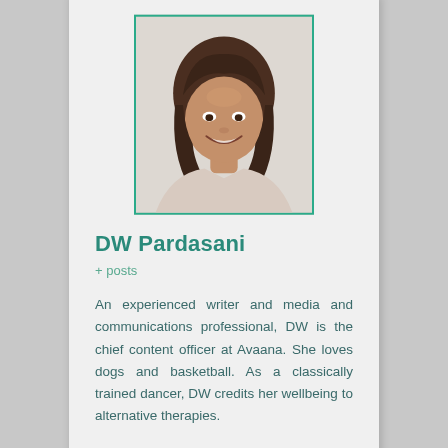[Figure (photo): Headshot photo of DW Pardasani, a woman with long dark hair, smiling, against a light background. Photo is framed with a teal/green border.]
DW Pardasani
+ posts
An experienced writer and media and communications professional, DW is the chief content officer at Avaana. She loves dogs and basketball. As a classically trained dancer, DW credits her wellbeing to alternative therapies.